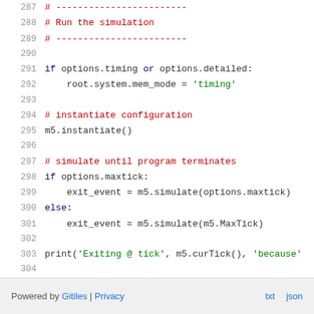287  # ------------------------
288  # Run the simulation
289  # ------------------------
290  
291  if options.timing or options.detailed:
292       root.system.mem_mode = 'timing'
293  
294  # instantiate configuration
295  m5.instantiate()
296  
297  # simulate until program terminates
298  if options.maxtick:
299       exit_event = m5.simulate(options.maxtick)
300  else:
301       exit_event = m5.simulate(m5.MaxTick)
302  
303  print('Exiting @ tick', m5.curTick(), 'because'
304
Powered by Gitiles | Privacy    txt  json